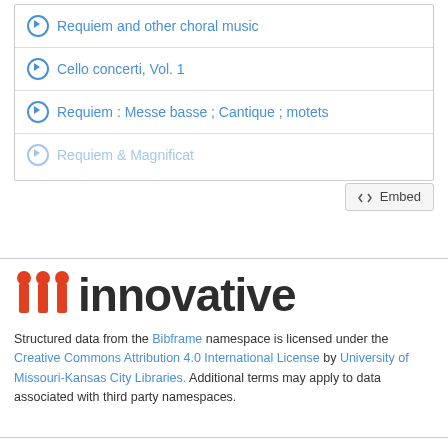Requiem and other choral music
Cello concerti, Vol. 1
Requiem : Messe basse ; Cantique ; motets
Requiem & Magnificat
[Figure (screenshot): Embed button with code icon]
[Figure (logo): Innovative Interfaces logo with three red vertical bar icons and the word innovative in dark text]
Structured data from the Bibframe namespace is licensed under the Creative Commons Attribution 4.0 International License by University of Missouri-Kansas City Libraries. Additional terms may apply to data associated with third party namespaces.